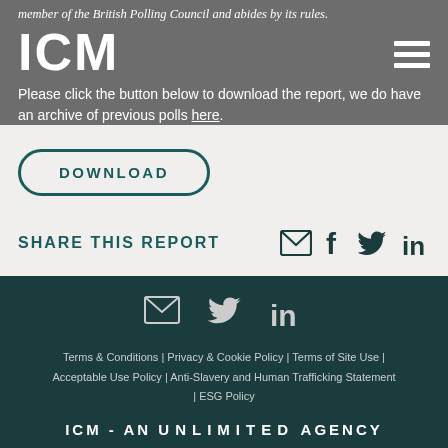member of the British Polling Council and abides by its rules.
[Figure (logo): ICM logo in white bold text on grey background]
Please click the button below to download the report, we do have an archive of previous polls here.
DOWNLOAD
SHARE THIS REPORT
[Figure (infographic): Social share icons: email, facebook, twitter, linkedin]
[Figure (infographic): Footer social icons: email, twitter, linkedin]
Terms & Conditions | Privacy & Cookie Policy | Terms of Site Use | Acceptable Use Policy | Anti-Slavery and Human Trafficking Statement | ESG Policy
ICM - AN UNLIMITED AGENCY